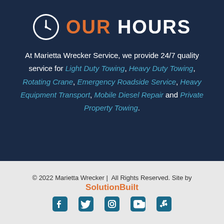OUR HOURS
At Marietta Wrecker Service, we provide 24/7 quality service for Light Duty Towing, Heavy Duty Towing, Rotating Crane, Emergency Roadside Service, Heavy Equipment Transport, Mobile Diesel Repair and Private Property Towing.
© 2022 Marietta Wrecker | All Rights Reserved. Site by SolutionBuilt
[Figure (infographic): Social media icons: Facebook, Twitter, Instagram, YouTube, Yelp]